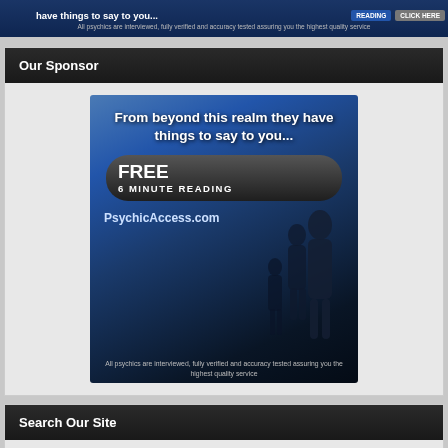[Figure (photo): Top banner advertisement for PsychicAccess.com showing blue dark background with text 'have things to say to you...' and buttons for READING and CLICK HERE, with subtitle 'All psychics are interviewed, fully verified and accuracy tested assuring you the highest quality service']
Our Sponsor
[Figure (photo): Advertisement image for PsychicAccess.com on a dark blue background with silhouettes of people. Text reads: 'From beyond this realm they have things to say to you...' FREE 6 MINUTE READING, PsychicAccess.com, All psychics are interviewed, fully verified and accuracy tested assuring you the highest quality service]
Search Our Site
Search